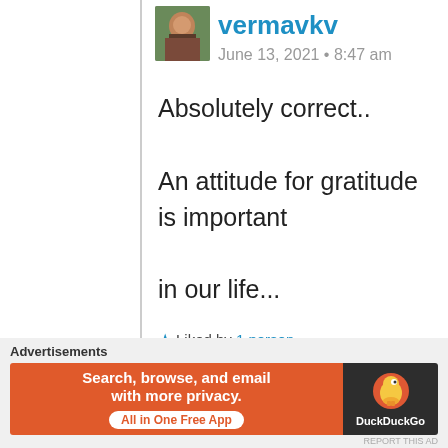[Figure (photo): Small square avatar photo of a person outdoors]
vermavkv
June 13, 2021 • 8:47 am
Absolutely correct..
An attitude for gratitude is important
in our life...
Stay connected and stay happy..
★ Liked by 1 person
Reply ↓
Advertisements
[Figure (screenshot): DuckDuckGo advertisement banner: orange left side with 'Search, browse, and email with more privacy. All in One Free App', dark right side with DuckDuckGo duck logo and brand name]